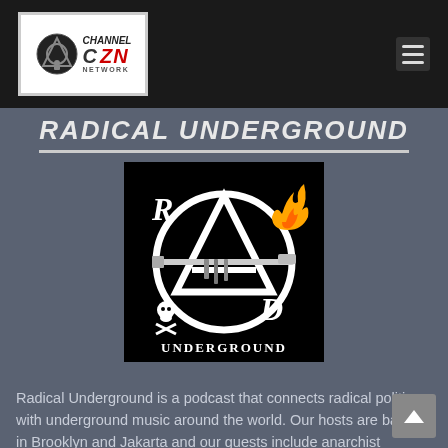Channel Zero Network
RADICAL UNDERGROUND
[Figure (logo): Radical Underground podcast logo: black background with large white anarchy circle-A symbol, letters R-A-D arranged around it, rifle/gun across the center, skull and crossbones bottom left, flame top right, text UNDERGROUND at bottom in gothic lettering]
Radical Underground is a podcast that connects radical politics with underground music around the world. Our hosts are based in Brooklyn and Jakarta and our guests include anarchist rappers, gonzo